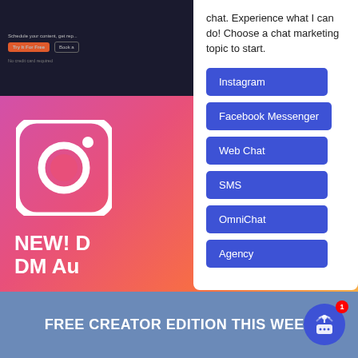[Figure (screenshot): Top dark navigation bar with 'Try It For Free' orange button and 'Book a' button, with 'No credit card required' text]
chat. Experience what I can do! Choose a chat marketing topic to start.
Instagram
Facebook Messenger
Web Chat
SMS
OmniChat
Agency
[Figure (illustration): Instagram logo icon in white on gradient pink/purple background]
NEW! DM Au
Grow foll via Instag
FREE CREATOR EDITION THIS WEEK
[Figure (illustration): Chat widget bot icon with notification badge showing 1]